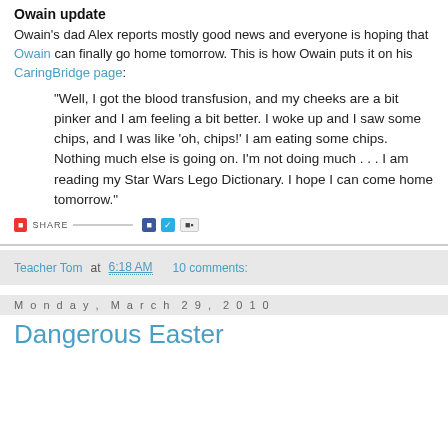Owain update
Owain's dad Alex reports mostly good news and everyone is hoping that Owain can finally go home tomorrow. This is how Owain puts it on his CaringBridge page:
"Well, I got the blood transfusion, and my cheeks are a bit pinker and I am feeling a bit better. I woke up and I saw some chips, and I was like 'oh, chips!' I am eating some chips. Nothing much else is going on. I'm not doing much . . . I am reading my Star Wars Lego Dictionary. I hope I can come home tomorrow."
[Figure (other): Social share bar with SHARE button, Facebook, Twitter, and more icons]
Teacher Tom at 6:18 AM   10 comments:
Monday, March 29, 2010
Dangerous Easter